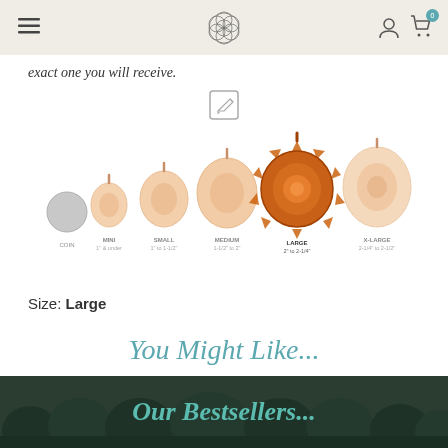Navigation header with logo, hamburger menu, user icon, and cart icon
exact one you will receive.
[Figure (other): Edit/pencil icon in a square]
[Figure (infographic): Size comparison chart showing five pendant sizes: MINI (1" & under), SMALL (1" to 1-1/2"), MEDIUM (1-1/2" to 2"), LARGE (2" to 2-1/4"), X-LARGE (2-1/4" to 2-1/2"). The LARGE pendant is highlighted/selected in amber/orange color.]
Size: Large
You Might Like...
Our Bestsellers...